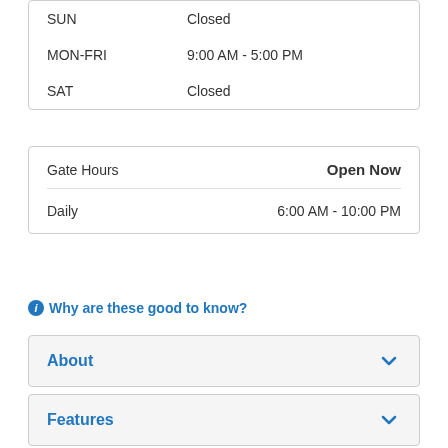| Day | Hours |
| --- | --- |
| SUN | Closed |
| MON-FRI | 9:00 AM - 5:00 PM |
| SAT | Closed |
| Gate Hours | Open Now |
| --- | --- |
| Daily | 6:00 AM - 10:00 PM |
Why are these good to know?
About
Features
[Figure (map): Street map showing Anthony area with Old US HWY 301, NE 100th St, NE 97th Street Rd, Countryside label, and a storage facility marker pin.]